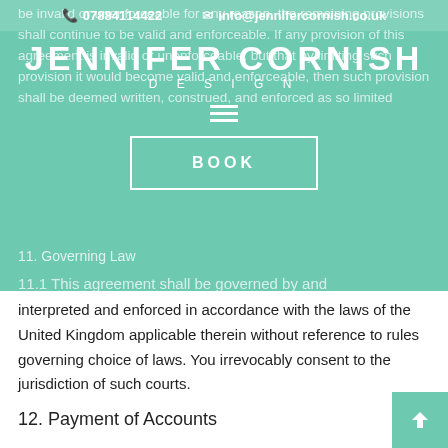07884114422  info@jennifercornish.co.uk  JENNIFER CORNISH DESIGN
be invalid or unenforceable for any reason, the remaining provisions shall continue to be valid and enforceable. If any provision of this agreement is invalid or unenforceable, but that by limiting such provision it would become valid and enforceable, then such provision shall be deemed written, construed, and enforced as so limited
11. Governing Law
11.1 This agreement shall be governed by and interpreted and enforced in accordance with the laws of the United Kingdom applicable therein without reference to rules governing choice of laws. You irrevocably consent to the jurisdiction of such courts.
12. Payment of Accounts